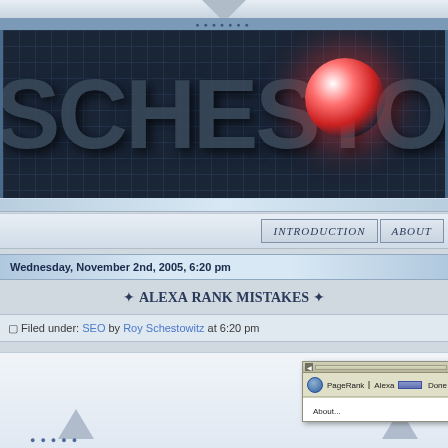[Figure (screenshot): Website header banner with 'SCHESTOW...' text in large 3D metallic letters on dark grid background with red glowing orb]
INTRODUCTION   ABOUT
Wednesday, November 2nd, 2005, 6:20 pm
❧ Alexa Rank Mistakes ❧
□ Filed under: SEO by Roy Schestowitz at 6:20 pm
[Figure (screenshot): Browser toolbar widget showing PageRank and Alexa fields with Done button and About... dropdown option]